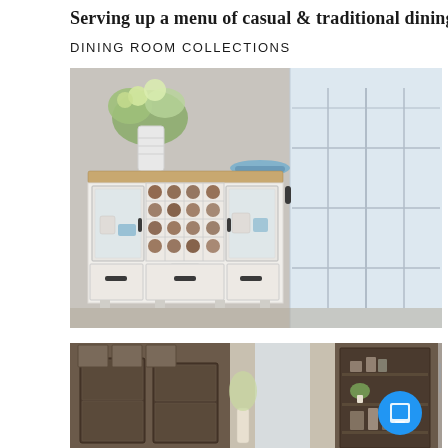Serving up a menu of casual & traditional dining
DINING ROOM COLLECTIONS
[Figure (photo): White sideboard/buffet cabinet with wood top, glass doors, wine rack in center, and drawers, displayed with floral arrangement and blue bowl on top, in a room with French doors on the right.]
[Figure (photo): Dark wood dining room furniture pieces including china cabinet/hutch and display cabinets shown in three panel collage view, with a circular blue floating action button overlay.]